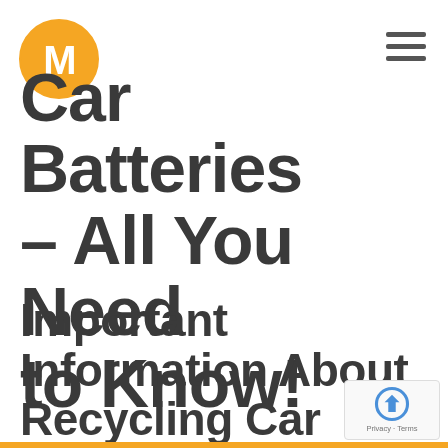[Figure (logo): Circular orange logo with white letter M in the center]
[Figure (other): Hamburger menu icon with three horizontal lines]
Car Batteries – All You Need to Know!
Important Information About Recycling Car Batteries
[Figure (other): Google reCAPTCHA badge with Privacy and Terms text]